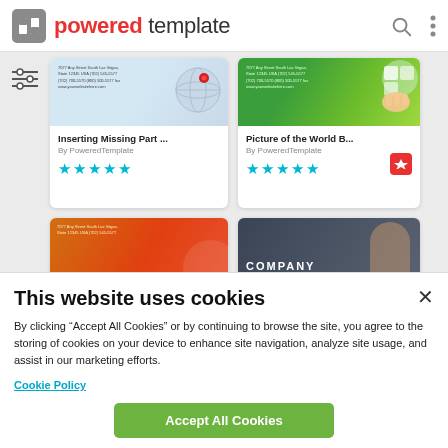powered template
[Figure (screenshot): Template card: 'Inserting Missing Part ...' by PoweredTemplate, 5-star rating, thumbnail showing world map with red pin]
[Figure (screenshot): Template card: 'Picture of the World B...' by PoweredTemplate, 5-star rating with premium badge, thumbnail showing puzzle piece over green field]
[Figure (screenshot): Template card thumbnail with orange gradient]
[Figure (screenshot): Template card thumbnail dark blue/gray with COMPANY text]
This website uses cookies
By clicking “Accept All Cookies” or by continuing to browse the site, you agree to the storing of cookies on your device to enhance site navigation, analyze site usage, and assist in our marketing efforts.
Cookie Policy
Accept All Cookies